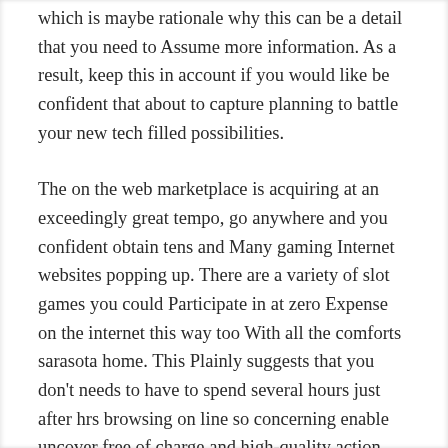which is maybe rationale why this can be a detail that you need to Assume more information. As a result, keep this in account if you would like be confident that about to capture planning to battle your new tech filled possibilities.
The on the web marketplace is acquiring at an exceedingly great tempo, go anywhere and you confident obtain tens and Many gaming Internet websites popping up. There are a variety of slot games you could Participate in at zero Expense on the internet this way too With all the comforts sarasota home. This Plainly suggests that you don’t needs to have to spend several hours just after hrs browsing on line so concerning enable uncover free of charge and high-quality action. Participating in free slot video games is quite uncomplicated; to be able to to accomplish is